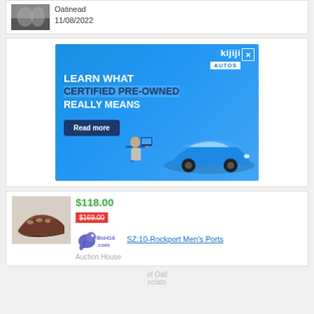Oatinead
11/08/2022
[Figure (screenshot): Kijiji Autos advertisement banner: 'LEARN WHAT CERTIFIED PRE-OWNED REALLY MEANS' with Read more button, blue car and person at desk illustration]
$118.00
$169.00 (strikethrough)
[Figure (logo): Bid416.com logo with elephant icon]
SZ:10-Rockport Men's Ports
Auction House